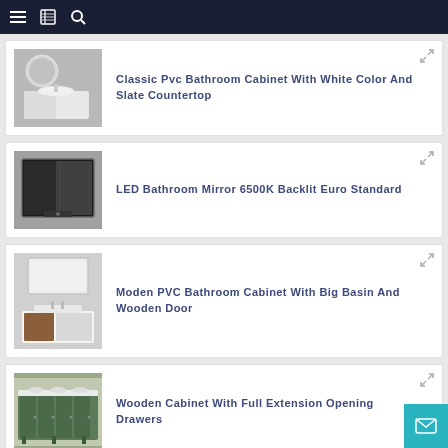Navigation bar with menu, bookmark, and search icons
[Figure (photo): Bathroom cabinet with round mirror and white countertop]
Classic Pvc Bathroom Cabinet With White Color And Slate Countertop
[Figure (photo): LED bathroom mirror with dark frame]
LED Bathroom Mirror 6500K Backlit Euro Standard
[Figure (photo): Modern PVC bathroom cabinet with mirror above and wooden door]
Moden PVC Bathroom Cabinet With Big Basin And Wooden Door
[Figure (photo): Green wooden cabinet with full extension opening drawers]
Wooden Cabinet With Full Extension Opening Drawers